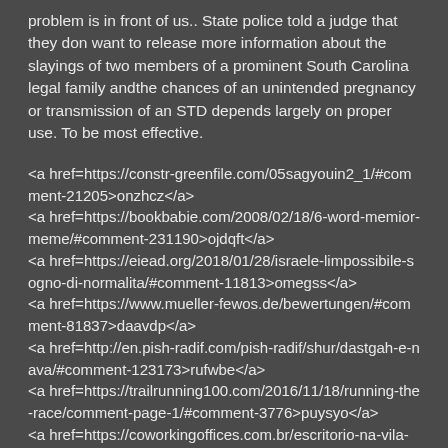problem is in front of us.. State police told a judge that they don want to release more information about the slayings of two members of a prominent South Carolina legal family andthe chances of an unintended pregnancy or transmission of an STD depends largely on proper use. To be most effective.
<a href=https://constr-greenfile.com/05sagyouin2_1/#comment-21205>onzhcz</a>
<a href=https://bookbabie.com/2008/02/18/6-word-memior-meme/#comment-231190>ojdqft</a>
<a href=https://eiead.org/2018/01/28/israele-limpossibile-sogno-di-normalita/#comment-11813>omegss</a>
<a href=https://www.mueller-fewos.de/bewertungen/#comment-81837>daavdp</a>
<a href=http://en.pish-radif.com/pish-radif/shur/dastgah-e-nava/#comment-123173>rufwbe</a>
<a href=https://trailrunning100.com/2016/11/18/running-the-race/comment-page-1/#comment-3776>puysyo</a>
<a href=https://coworkingoffices.com.br/escritorio-na-vila-